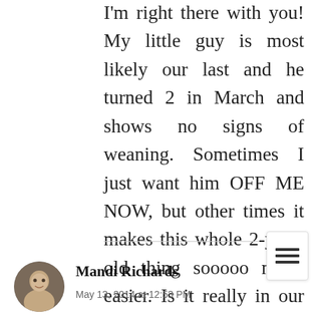I'm right there with you! My little guy is most likely our last and he turned 2 in March and shows no signs of weaning. Sometimes I just want him OFF ME NOW, but other times it makes this whole 2-year-old thing sooooo much easier. Is it really in our best interest to wean right now? I'm undecided, so I'm letting him nurse. Until he pinches, scratches, or bites. Then he's done for that session!
Mandi Richards
May 13, 2014 at 12:53 PM